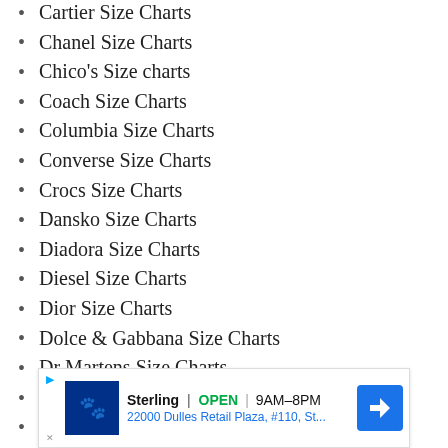Cartier Size Charts
Chanel Size Charts
Chico's Size charts
Coach Size Charts
Columbia Size Charts
Converse Size Charts
Crocs Size Charts
Dansko Size Charts
Diadora Size Charts
Diesel Size Charts
Dior Size Charts
Dolce & Gabbana Size Charts
Dr Martens Size Charts
Fashion Nova Size Charts
Fendi Size Charts
[Figure (other): Advertisement banner for Petco store in Sterling, showing store hours OPEN 9AM-8PM and address 22000 Dulles Retail Plaza, #110, St... with navigation arrow icon]